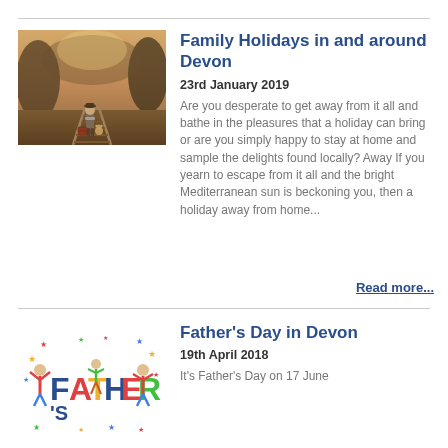[Figure (photo): Child with suitcase and teddy bear standing on railway tracks in a forested area with warm light]
Family Holidays in and around Devon
23rd January 2019
Are you desperate to get away from it all and bathe in the pleasures that a holiday can bring or are you simply happy to stay at home and sample the delights found locally? Away If you yearn to escape from it all and the bright Mediterranean sun is beckoning you, then a holiday away from home...
Read more...
[Figure (logo): Father's Day colorful logo with cartoon figures and stars]
Father's Day in Devon
19th April 2018
It's Father's Day on 17 June